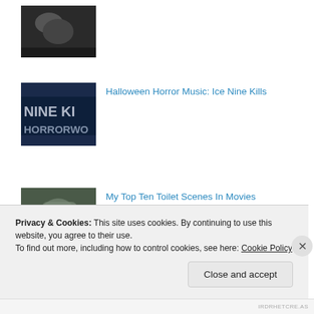[Figure (photo): Partial view of a black and white photo, cropped at top of page]
Halloween Horror Music: Ice Nine Kills
[Figure (photo): Dark blue thumbnail showing text 'NINE KI' and 'HORRORWO' on a banner/sign]
My Top Ten Toilet Scenes In Movies
[Figure (photo): Dark greenish photo of what appears to be a cat or animal near a wall]
My Top Ten Celebrities With Color Names
[Figure (photo): Partial photo of a person's face with tan/beige background]
Privacy & Cookies: This site uses cookies. By continuing to use this website, you agree to their use.
To find out more, including how to control cookies, see here: Cookie Policy
Close and accept